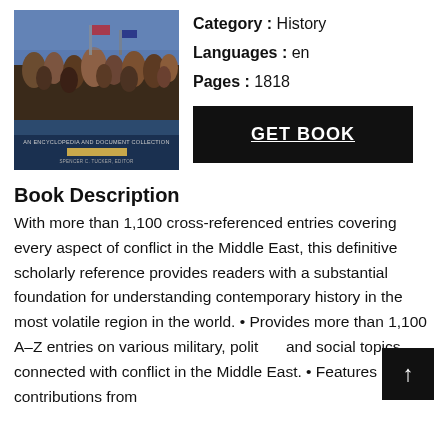[Figure (photo): Book cover image showing a crowd scene, with subtitle 'An Encyclopedia and Document Collection' and editor 'Spencer C. Tucker, Editor', on a dark blue background with a gold bar accent.]
Category : History
Languages : en
Pages : 1818
GET BOOK
Book Description
With more than 1,100 cross-referenced entries covering every aspect of conflict in the Middle East, this definitive scholarly reference provides readers with a substantial foundation for understanding contemporary history in the most volatile region in the world. • Provides more than 1,100 A–Z entries on various military, political and social topics connected with conflict in the Middle East. • Features contributions from